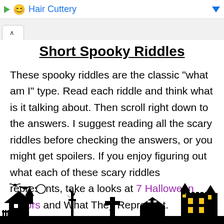Hair Cuttery
Short Spooky Riddles
These spooky riddles are the classic “what am I” type. Read each riddle and think what is it talking about. Then scroll right down to the answers. I suggest reading all the scary riddles before checking the answers, or you might get spoilers. If you enjoy figuring out what each of these scary riddles represents, take a looks at 7 Halloween Colors and What They Represent.
[Figure (illustration): Halloween silhouette scene at the bottom of the page showing a haunted house, trees, bats, a cross/tombstone, a carriage, and another castle/haunted building, all in black silhouette against white background.]